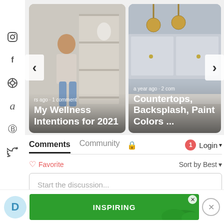[Figure (screenshot): Left sidebar with social media icons: Instagram, Facebook, target/crosshair, Amazon, Pinterest, Twitter]
[Figure (screenshot): Carousel card left: woman sitting in kitchen with shelves behind her. Title: 'My Wellness Intentions for 2021'. Meta: 'rs ago · 1 comment']
[Figure (screenshot): Carousel card right: kitchen with pendant lights and countertop. Title: 'Countertops, Backsplash, Paint Colors ...'. Meta: 'a year ago · 2 com']
Comments  Community  🔒  1  Login ▾
♡ Favorite   Sort by Best ▾
Start the discussion...
LOG IN WITH
[Figure (screenshot): Bottom ad bar with Disqus D icon, green INSPIRING banner ad with close X, and circular X close button]